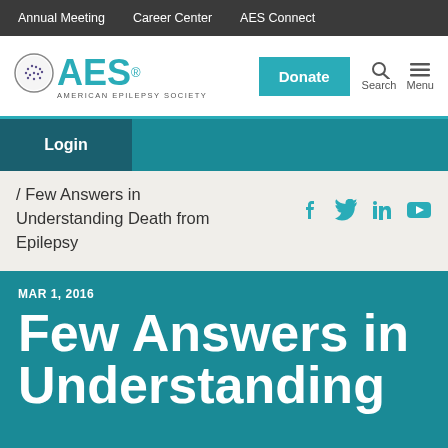Annual Meeting   Career Center   AES Connect
[Figure (logo): AES American Epilepsy Society logo with teal brain icon and bold teal AES text]
Donate
Search   Menu
Login
/ Few Answers in Understanding Death from Epilepsy
Social share icons: Facebook, Twitter, LinkedIn, YouTube
MAR 1, 2016
Few Answers in Understanding